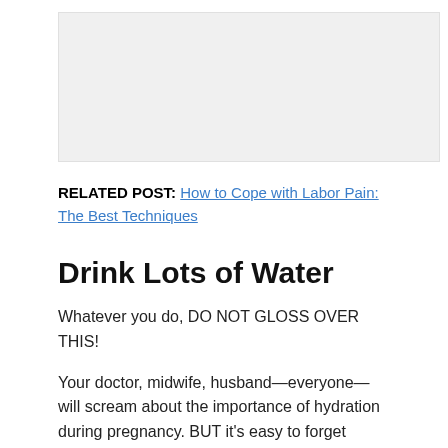[Figure (photo): Image placeholder area at top of page]
RELATED POST: How to Cope with Labor Pain: The Best Techniques
Drink Lots of Water
Whatever you do, DO NOT GLOSS OVER THIS!
Your doctor, midwife, husband—everyone—will scream about the importance of hydration during pregnancy. BUT it's easy to forget about it. Water is the key to a successful pregnancy AND relieving back pain. You can try all the techniques on this